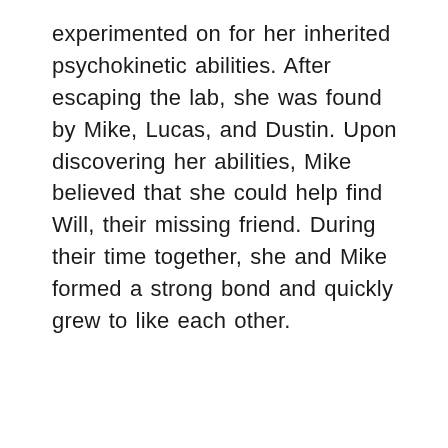experimented on for her inherited psychokinetic abilities. After escaping the lab, she was found by Mike, Lucas, and Dustin. Upon discovering her abilities, Mike believed that she could help find Will, their missing friend. During their time together, she and Mike formed a strong bond and quickly grew to like each other.